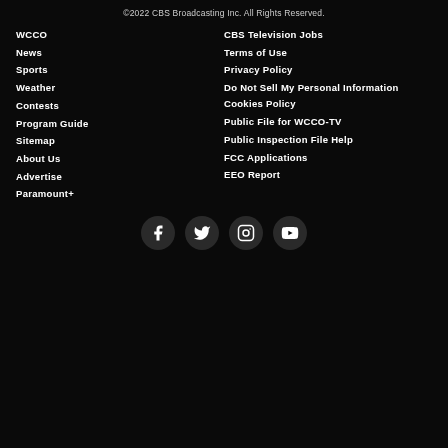© 2022 CBS Broadcasting Inc. All Rights Reserved.
WCCO
News
Sports
Weather
Contests
Program Guide
Sitemap
About Us
Advertise
Paramount+
CBS Television Jobs
Terms of Use
Privacy Policy
Do Not Sell My Personal Information
Cookies Policy
Public File for WCCO-TV
Public Inspection File Help
FCC Applications
EEO Report
[Figure (illustration): Social media icons row: Facebook, Twitter, Instagram, YouTube — white icons on dark circular backgrounds]